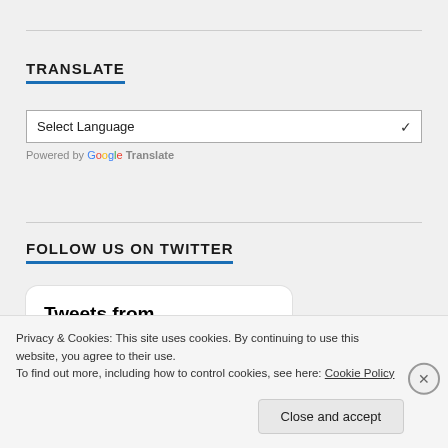TRANSLATE
[Figure (screenshot): Select Language dropdown with arrow, powered by Google Translate]
FOLLOW US ON TWITTER
[Figure (screenshot): Tweet box showing 'Tweets from @eJyotishBooks']
Privacy & Cookies: This site uses cookies. By continuing to use this website, you agree to their use. To find out more, including how to control cookies, see here: Cookie Policy